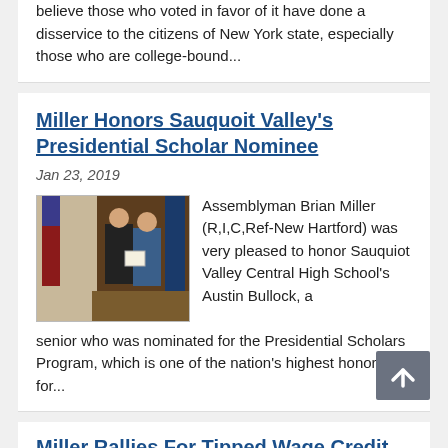believe those who voted in favor of it have done a disservice to the citizens of New York state, especially those who are college-bound...
Miller Honors Sauquoit Valley's Presidential Scholar Nominee
Jan 23, 2019
[Figure (photo): Two men shaking hands in an office, one in a dark suit and one in a blue blazer, holding a certificate or document between them. American flag and blue flag visible in the background. Bookcase/dark wood backdrop.]
Assemblyman Brian Miller (R,I,C,Ref-New Hartford) was very pleased to honor Sauquiot Valley Central High School's Austin Bullock, a senior who was nominated for the Presidential Scholars Program, which is one of the nation's highest honors for...
Miller Rallies For Tipped Wage Credit